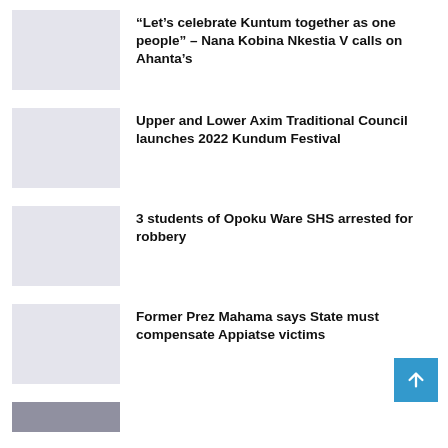“Let’s celebrate Kuntum together as one people” – Nana Kobina Nkestia V calls on Ahanta’s
Upper and Lower Axim Traditional Council launches 2022 Kundum Festival
3 students of Opoku Ware SHS arrested for robbery
Former Prez Mahama says State must compensate Appiatse victims